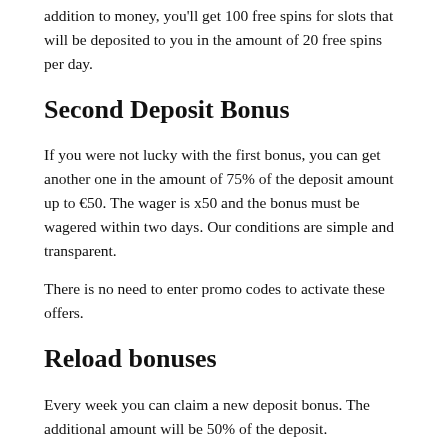addition to money, you'll get 100 free spins for slots that will be deposited to you in the amount of 20 free spins per day.
Second Deposit Bonus
If you were not lucky with the first bonus, you can get another one in the amount of 75% of the deposit amount up to €50. The wager is x50 and the bonus must be wagered within two days. Our conditions are simple and transparent.
There is no need to enter promo codes to activate these offers.
Reload bonuses
Every week you can claim a new deposit bonus. The additional amount will be 50% of the deposit.
Loyalty Program
Our Loyalty Program is divided into many levels. The quality of